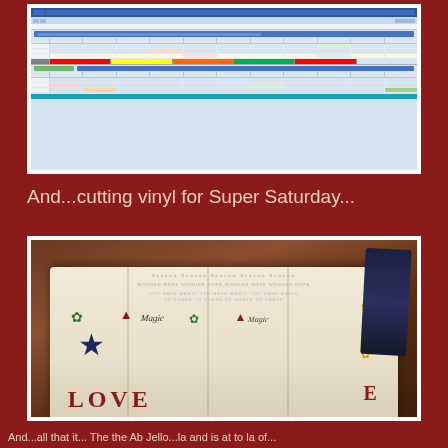[Figure (screenshot): Screenshot of a Microsoft Excel spreadsheet with multiple rows and columns of financial/data content, featuring blue header bars, colored rows (red, yellow, green), and numerical data.]
And...cutting vinyl for Super Saturday...
[Figure (photo): Photo of a pile of fabric pillows/tea towels with vinyl lettering and designs including stars, flowers, Christmas trees, the word LOVE, and Magic script text, arranged on what appears to be a wooden surface.]
And...all that it... The the Ab Jello...la and is at to la of...